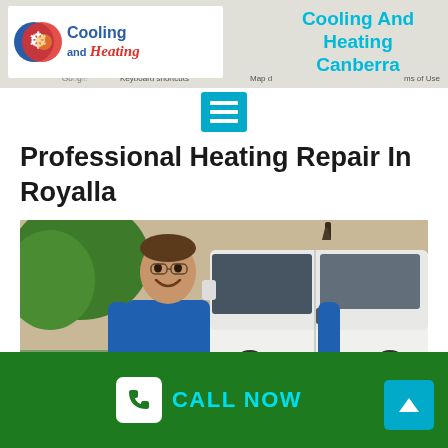[Figure (screenshot): Website header with Cooling and Heating logo on left, and 'Cooling And Heating Canberra' text on right in cyan, with Google Maps background]
[Figure (other): Hamburger/menu icon in cyan square]
Professional Heating Repair In Royalla
[Figure (photo): Smiling male technician in blue uniform standing in front of a white van]
CALL NOW